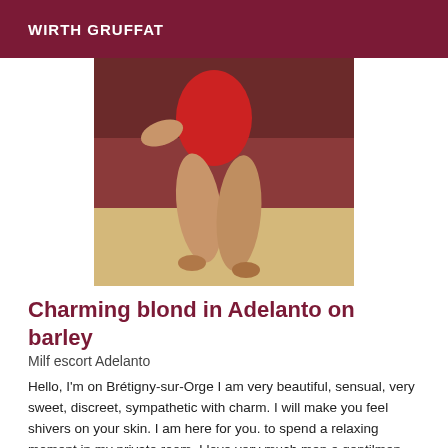WIRTH GRUFFAT
[Figure (photo): Photo of a woman in a red dress sitting on a brown leather couch, legs visible, wooden floor background]
Charming blond in Adelanto on barley
Milf escort Adelanto
Hello, I'm on Brétigny-sur-Orge I am very beautiful, sensual, very sweet, discreet, sympathetic with charm. I will make you feel shivers on your skin. I am here for you. to spend a relaxing moment in my private room. I love very much men e gentilmen kisses my darling see you soon. Shower available